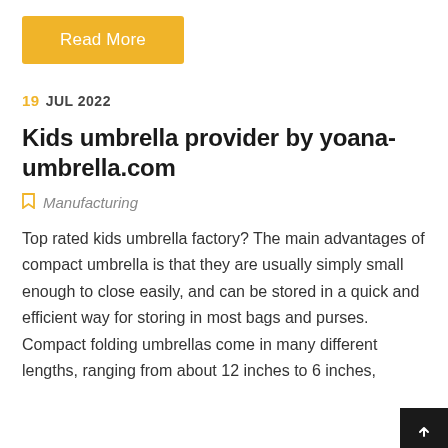Read More
19 JUL 2022
Kids umbrella provider by yoana-umbrella.com
Manufacturing
Top rated kids umbrella factory? The main advantages of compact umbrella is that they are usually simply small enough to close easily, and can be stored in a quick and efficient way for storing in most bags and purses. Compact folding umbrellas come in many different lengths, ranging from about 12 inches to 6 inches,